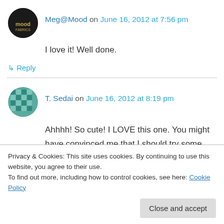Meg@Mood on June 16, 2012 at 7:56 pm
I love it! Well done.
↳ Reply
T. Sedai on June 16, 2012 at 8:19 pm
Ahhhh! So cute! I LOVE this one. You might have convinced me that I should try some Sewaholic Patterns... Or at least that I need to make more dresses. In blue
Privacy & Cookies: This site uses cookies. By continuing to use this website, you agree to their use.
To find out more, including how to control cookies, see here: Cookie Policy
Close and accept